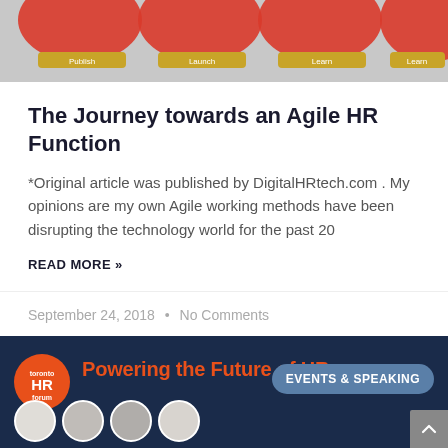[Figure (illustration): Partial view of an Agile process/methodology infographic with red curved arrows and golden/yellow stage labels on a gray background, partially cropped at top.]
The Journey towards an Agile HR Function
*Original article was published by DigitalHRtech.com . My opinions are my own Agile working methods have been disrupting the technology world for the past 20
READ MORE »
September 24, 2018  •  No Comments
[Figure (infographic): Toronto HR Forum banner showing the HR Forum circular logo in orange and black, the text 'Powering th... of HR' in orange on a dark blue cityscape background, an 'EVENTS & SPEAKING' badge in blue-gray, and a row of circular portrait photos of speakers at the bottom.]